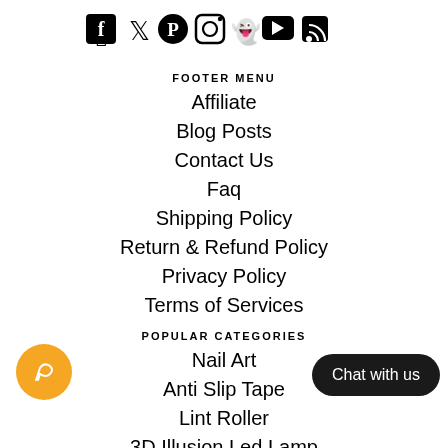[Figure (infographic): Social media icons: Facebook, Twitter, Pinterest, Instagram, Snapchat, YouTube, RSS]
FOOTER MENU
Affiliate
Blog Posts
Contact Us
Faq
Shipping Policy
Return & Refund Policy
Privacy Policy
Terms of Services
POPULAR CATEGORIES
Nail Art
Anti Slip Tape
Lint Roller
3D Illusion Led Lamp
Kallisto Men's Wallet
Shoe Care & Accessories
Dining Table Mat & Runner
Home Storage & Organisation